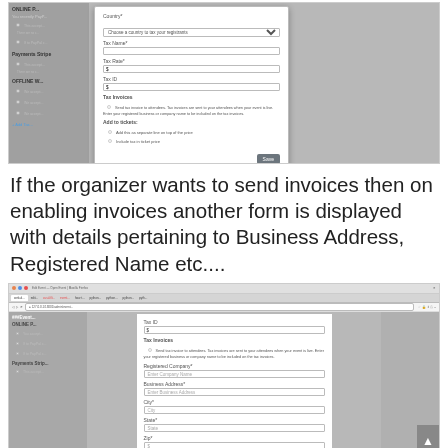[Figure (screenshot): Screenshot of a web browser showing an event management form with a modal dialog containing tax-related fields including Country, Tax Name, Tax ID, Tax Invoices sections, and Add to tickets options with Save button]
If the organizer wants to send invoices then on enabling invoices another form is displayed with details pertaining to Business Address, Registered Name etc....
[Figure (screenshot): Screenshot of a web browser showing a form with fields for Tax ID, Tax Invoices checkbox, Registered Company, Business Address, City, State, Zip fields]